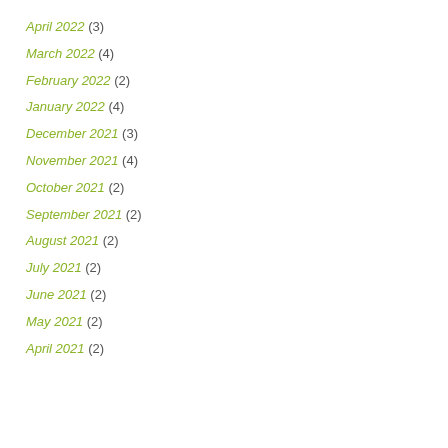April 2022 (3)
March 2022 (4)
February 2022 (2)
January 2022 (4)
December 2021 (3)
November 2021 (4)
October 2021 (2)
September 2021 (2)
August 2021 (2)
July 2021 (2)
June 2021 (2)
May 2021 (2)
April 2021 (2)